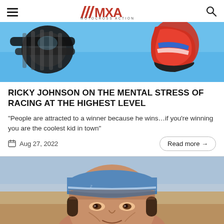MXA MOTOCROSS ACTION
[Figure (photo): Aerial/underside view of a motocross bike mid-air against a blue sky, showing wheels, chain, and rider's red boot]
RICKY JOHNSON ON THE MENTAL STRESS OF RACING AT THE HIGHEST LEVEL
“People are attracted to a winner because he wins…if you’re winning you are the coolest kid in town”
Aug 27, 2022
Read more →
[Figure (photo): Close-up portrait of a man wearing a blue baseball cap, smiling, with a blurred outdoor background]